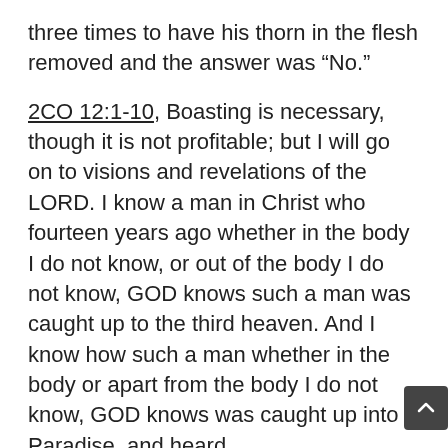three times to have his thorn in the flesh removed and the answer was “No.”
2CO 12:1-10, Boasting is necessary, though it is not profitable; but I will go on to visions and revelations of the LORD. I know a man in Christ who fourteen years ago whether in the body I do not know, or out of the body I do not know, GOD knows such a man was caught up to the third heaven. And I know how such a man whether in the body or apart from the body I do not know, GOD knows was caught up into Paradise, and heard